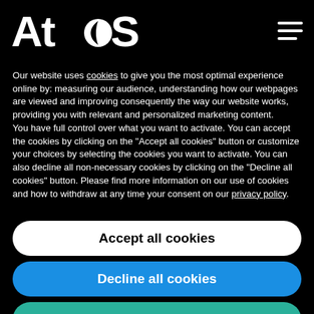[Figure (logo): Atos company logo in white on black background, with hamburger menu icon top right]
Our website uses cookies to give you the most optimal experience online by: measuring our audience, understanding how our webpages are viewed and improving consequently the way our website works, providing you with relevant and personalized marketing content.
You have full control over what you want to activate. You can accept the cookies by clicking on the "Accept all cookies" button or customize your choices by selecting the cookies you want to activate. You can also decline all non-necessary cookies by clicking on the "Decline all cookies" button. Please find more information on our use of cookies and how to withdraw at any time your consent on our privacy policy.
Accept all cookies
Decline all cookies
Customize
Privacy policy
it is important to understand that vendor and product choices in a digital workplace will impact